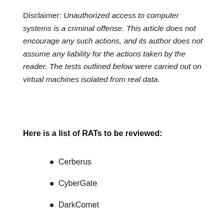Disclaimer: Unauthorized access to computer systems is a criminal offense. This article does not encourage any such actions, and its author does not assume any liability for the actions taken by the reader. The tests outlined below were carried out on virtual machines isolated from real data.
Here is a list of RATs to be reviewed:
Cerberus
CyberGate
DarkComet